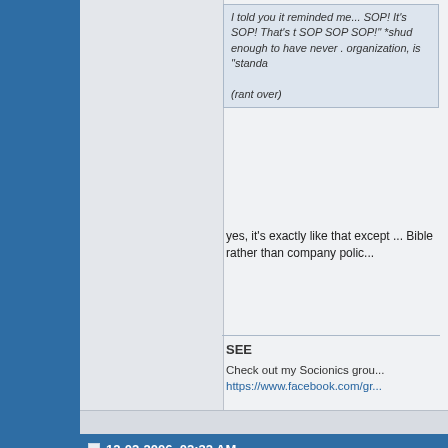I told you it reminded me... SOP! It's SOP! That's the SOP SOP SOP!" *shud... enough to have never... organization, is "standa...
(rant over)
yes, it's exactly like that except ... Bible rather than company polic...
SEE
Check out my Socionics grou... https://www.facebook.com/gr...
12-02-2006, 02:32 AM
discojoe
Banned
Join Date: May 2005
so, Originally Posted ...